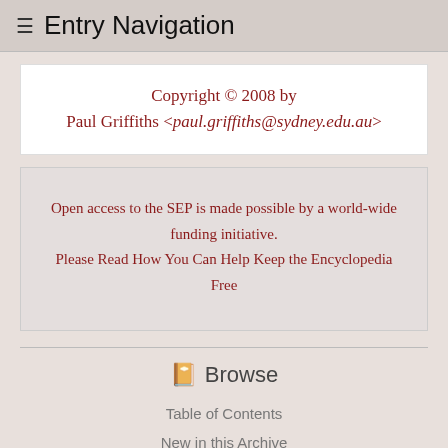≡ Entry Navigation
Copyright © 2008 by Paul Griffiths <paul.griffiths@sydney.edu.au>
Open access to the SEP is made possible by a world-wide funding initiative.
Please Read How You Can Help Keep the Encyclopedia Free
Browse
Table of Contents
New in this Archive
Chronological
Archives